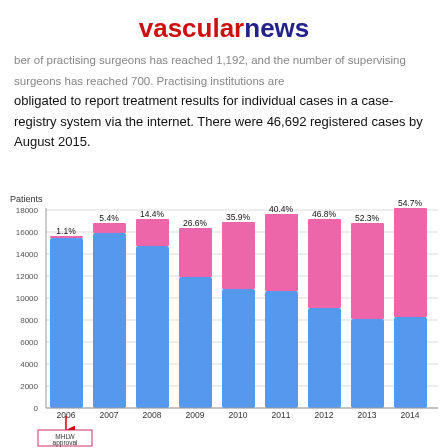vascularnews
ber of practising surgeons has reached 1,192, and the number of supervising surgeons has reached 700. Practising institutions are obligated to report treatment results for individual cases in a case-registry system via the internet. There were 46,692 registered cases by August 2015.
[Figure (stacked-bar-chart): Patients by Year]